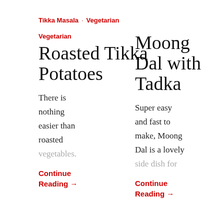Tikka Masala · Vegetarian
Vegetarian
Roasted Tikka Potatoes
There is nothing easier than roasted vegetables.
Continue Reading →
Vegetarian
Moong Dal with Tadka
Super easy and fast to make, Moong Dal is a lovely side dish for
Continue Reading →